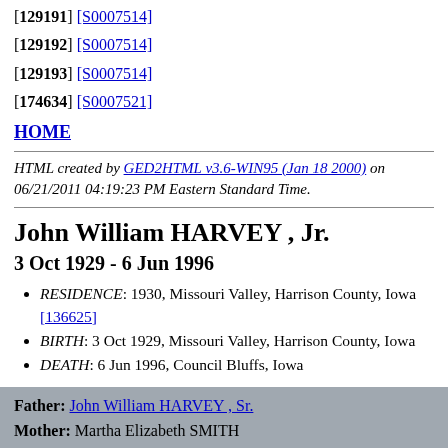[129191] [S0007514]
[129192] [S0007514]
[129193] [S0007514]
[174634] [S0007521]
HOME
HTML created by GED2HTML v3.6-WIN95 (Jan 18 2000) on 06/21/2011 04:19:23 PM Eastern Standard Time.
John William HARVEY , Jr.
3 Oct 1929 - 6 Jun 1996
RESIDENCE: 1930, Missouri Valley, Harrison County, Iowa [136625]
BIRTH: 3 Oct 1929, Missouri Valley, Harrison County, Iowa
DEATH: 6 Jun 1996, Council Bluffs, Iowa
Father: John William HARVEY , Sr.
Mother: Martha Elizabeth SMITH